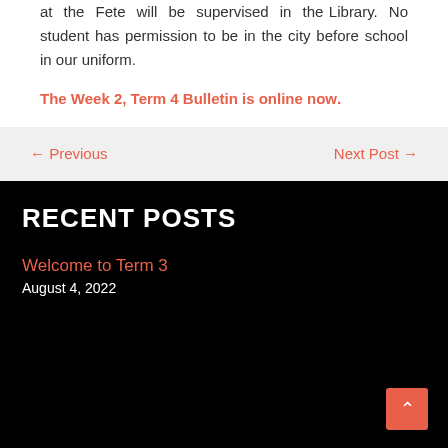at the Fete will be supervised in the Library. No student has permission to be in the city before school in our uniform.
The Week 2, Term 4 Bulletin is online now.
← Previous
Next Post →
RECENT POSTS
Welcome to Term 3
August 4, 2022